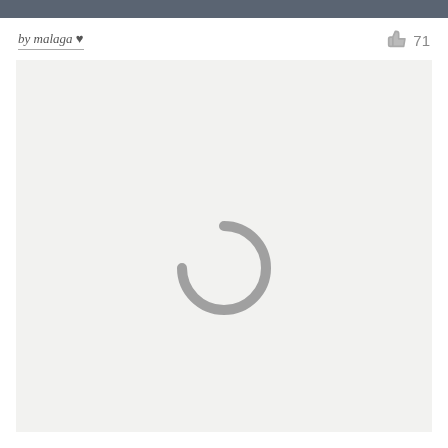by malaga ♥
71
[Figure (other): Loading spinner (grey circular arc) centered in a light grey content area, indicating content is loading]